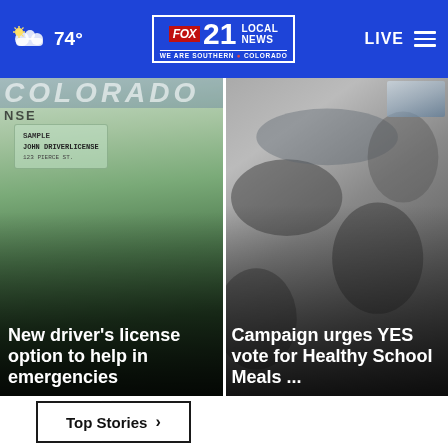74° FOX 21 LOCAL NEWS — WE ARE SOUTHERN COLORADO   LIVE
[Figure (photo): Partial view of a sample driver's license card with text 'SAMPLE JOHN DRIVERLICENSE' visible]
New driver's license option to help in emergencies
[Figure (photo): Close-up photo of person in camouflage clothing with books/supplies visible at top]
Campaign urges YES vote for Healthy School Meals ...
Top Stories ›